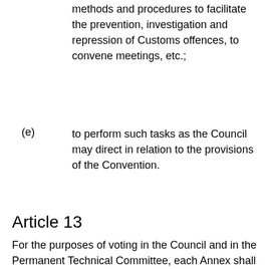methods and procedures to facilitate the prevention, investigation and repression of Customs offences, to convene meetings, etc.;
(e) to perform such tasks as the Council may direct in relation to the provisions of the Convention.
Article 13
For the purposes of voting in the Council and in the Permanent Technical Committee, each Annex shall